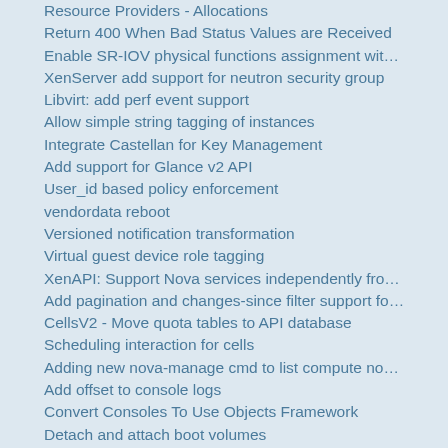Resource Providers - Allocations
Return 400 When Bad Status Values are Received
Enable SR-IOV physical functions assignment wit…
XenServer add support for neutron security group
Libvirt: add perf event support
Allow simple string tagging of instances
Integrate Castellan for Key Management
Add support for Glance v2 API
User_id based policy enforcement
vendordata reboot
Versioned notification transformation
Virtual guest device role tagging
XenAPI: Support Nova services independently fro…
Add pagination and changes-since filter support fo…
CellsV2 - Move quota tables to API database
Scheduling interaction for cells
Adding new nova-manage cmd to list compute no…
Add offset to console logs
Convert Consoles To Use Objects Framework
Detach and attach boot volumes
Add support for flavors with no local ephemeral disks
Scheduler: Introduce HostState level locking
Hyper-V Cluster